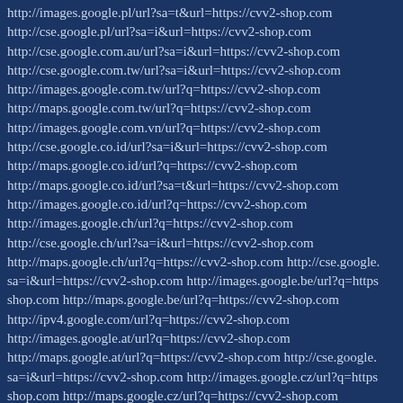http://images.google.pl/url?sa=t&url=https://cvv2-shop.com
http://cse.google.pl/url?sa=i&url=https://cvv2-shop.com
http://cse.google.com.au/url?sa=i&url=https://cvv2-shop.com
http://cse.google.com.tw/url?sa=i&url=https://cvv2-shop.com
http://images.google.com.tw/url?q=https://cvv2-shop.com
http://maps.google.com.tw/url?q=https://cvv2-shop.com
http://images.google.com.vn/url?q=https://cvv2-shop.com
http://cse.google.co.id/url?sa=i&url=https://cvv2-shop.com
http://maps.google.co.id/url?q=https://cvv2-shop.com
http://maps.google.co.id/url?sa=t&url=https://cvv2-shop.com
http://images.google.co.id/url?q=https://cvv2-shop.com
http://images.google.ch/url?q=https://cvv2-shop.com
http://cse.google.ch/url?sa=i&url=https://cvv2-shop.com
http://maps.google.ch/url?q=https://cvv2-shop.com http://cse.google. sa=i&url=https://cvv2-shop.com http://images.google.be/url?q=https shop.com http://maps.google.be/url?q=https://cvv2-shop.com
http://ipv4.google.com/url?q=https://cvv2-shop.com
http://images.google.at/url?q=https://cvv2-shop.com
http://maps.google.at/url?q=https://cvv2-shop.com http://cse.google. sa=i&url=https://cvv2-shop.com http://images.google.cz/url?q=https shop.com http://maps.google.cz/url?q=https://cvv2-shop.com
http://cse.google.cz/url?sa=i&url=https://cvv2-shop.com
http://cse.google.se/url?sa=i&url=https://cvv2-shop.com
http://images.google.se/url?q=https://cvv2-shop.com
http://maps.google.no/url?q=https://cvv2-shop.com